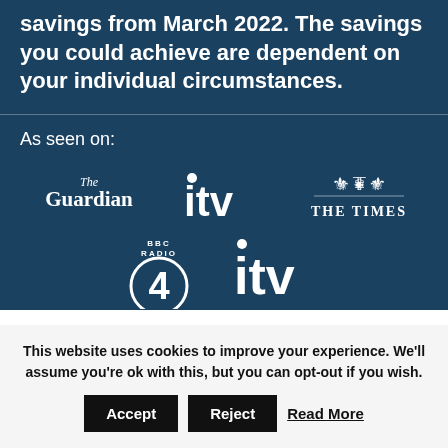savings from March 2022. The savings you could achieve are dependent on your individual circumstances.
As seen on:
[Figure (logo): The Guardian logo (white text on dark blue background)]
[Figure (logo): ITV logo (white text on dark blue background)]
[Figure (logo): The Times logo with crest (white on dark blue)]
[Figure (logo): BBC Radio 4 logo (white circle with 4, white text on dark blue)]
[Figure (logo): ITV logo second instance (white on dark blue, partially cropped)]
This website uses cookies to improve your experience. We'll assume you're ok with this, but you can opt-out if you wish.
Accept   Reject   Read More